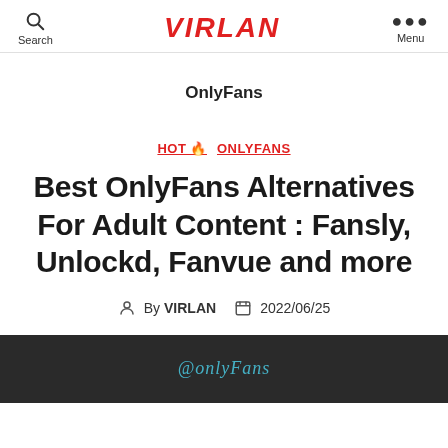Search | VIRLAN | Menu
OnlyFans
HOT 🔥 ONLYFANS
Best OnlyFans Alternatives For Adult Content : Fansly, Unlockd, Fanvue and more
By VIRLAN   2022/06/25
[Figure (photo): Thumbnail image showing a screen with OnlyFans logo text in teal/blue cursive on dark background]